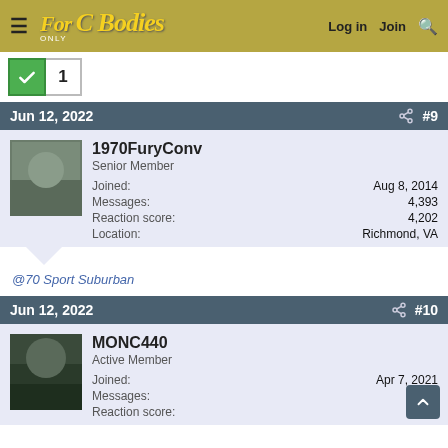For C Bodies Only Classic Mopar Forum — Log in  Join  Search
[Figure (screenshot): Checkmark verified badge with number 1]
Jun 12, 2022  #9
1970FuryConv
Senior Member
Joined: Aug 8, 2014
Messages: 4,393
Reaction score: 4,202
Location: Richmond, VA
@70 Sport Suburban
Jun 12, 2022  #10
MONC440
Active Member
Joined: Apr 7, 2021
Messages: 332
Reaction score: 607